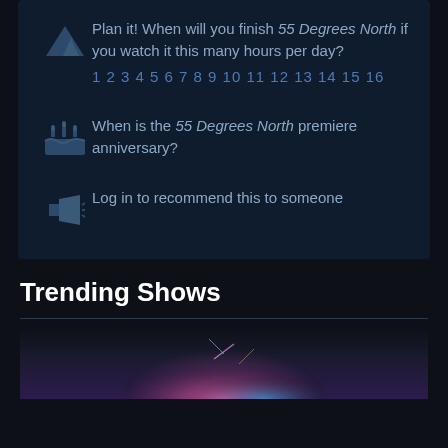Plan it! When will you finish 55 Degrees North if you watch it this many hours per day?
1 2 3 4 5 6 7 8 9 10 11 12 13 14 15 16
When is the 55 Degrees North premiere anniversary?
Log in to recommend this to someone
Trending Shows
[Figure (photo): Dark background with colorful light effects, preview of a trending show]